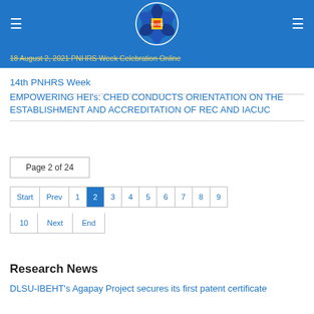PNHRS website header with navigation and logo
18 August 2, 2021 PNHRS Week Celebration Online
14th PNHRS Week
EMPOWERING HEI's: CHED CONDUCTS ORIENTATION ON THE ESTABLISHMENT AND ACCREDITATION OF REC AND IACUC
Page 2 of 24
Start Prev 1 2 3 4 5 6 7 8 9 10 Next End
Research News
DLSU-IBEHT's Agapay Project secures its first patent certificate